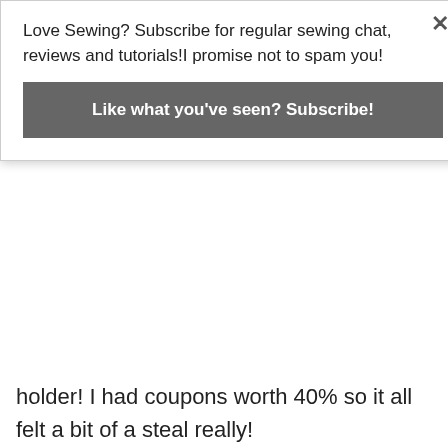Love Sewing? Subscribe for regular sewing chat, reviews and tutorials!I promise not to spam you!
Like what you've seen? Subscribe!
holder! I had coupons worth 40% so it all felt a bit of a steal really!
My McCalls 6696 Shirtdress (blogged HERE) came out to play for the Attica Rodeo. I was originally planning to wear my maxi dress having envisaged myself wearing it with cowboy boots, however, when everyone else in the house decided to go all native on me, I decided I had